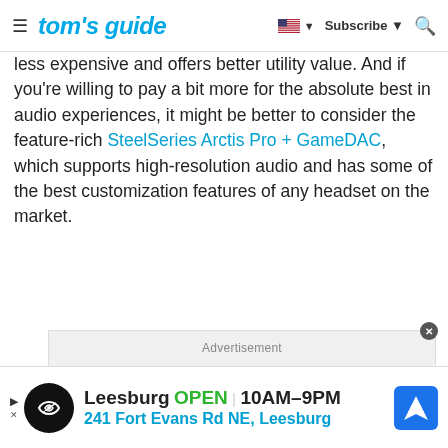tom's guide — Subscribe
less expensive and offers better utility value. And if you're willing to pay a bit more for the absolute best in audio experiences, it might be better to consider the feature-rich SteelSeries Arctis Pro + GameDAC, which supports high-resolution audio and has some of the best customization features of any headset on the market.
[Figure (other): Advertisement placeholder box with light grey background]
[Figure (other): Bottom advertisement banner: Leesburg OPEN 10AM-9PM, 241 Fort Evans Rd NE, Leesburg with navigation icon]